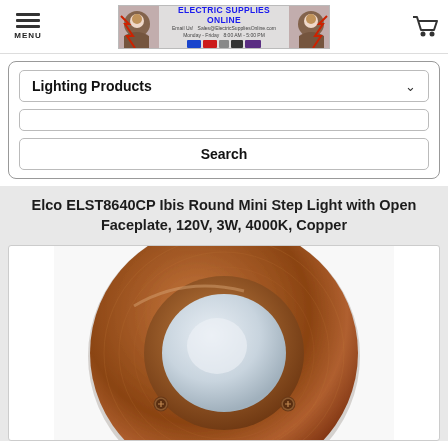MENU | ELECTRIC SUPPLIES ONLINE | Email Us! Sales@ElectricSuppliesOnline.com Monday - Friday 8:00 AM - 5:00 PM
[Figure (screenshot): Navigation dropdown showing 'Lighting Products' category selector with chevron, a text search input field, and a Search button, all inside a rounded rectangle border]
Elco ELST8640CP Ibis Round Mini Step Light with Open Faceplate, 120V, 3W, 4000K, Copper
[Figure (photo): Close-up photo of a round copper-finish LED step light (Elco ELST8640CP) with brushed copper metallic ring faceplate and frosted white circular lens in the center, two visible screws on the faceplate]